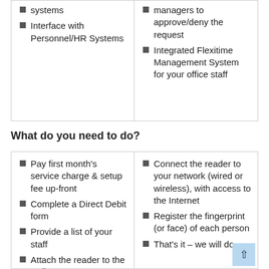systems
Interface with Personnel/HR Systems
managers to approve/deny the request
Integrated Flexitime Management System for your office staff
What do you need to do?
Pay first month's service charge & setup fee up-front
Complete a Direct Debit form
Provide a list of your staff
Attach the reader to the wall
Connect the reader to your network (wired or wireless), with access to the Internet
Register the fingerprint (or face) of each person
That's it – we will do